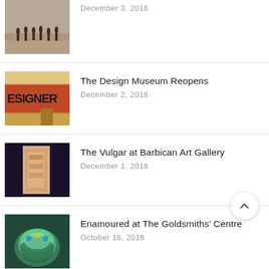December 3, 2016
The Design Museum Reopens
December 2, 2016
The Vulgar at Barbican Art Gallery
December 1, 2016
Enamoured at The Goldsmiths' Centre
October 16, 2016
Game Plan at Museum of Childhood
October 11, 2016